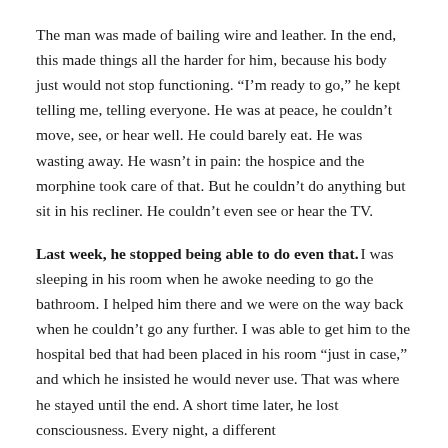The man was made of bailing wire and leather. In the end, this made things all the harder for him, because his body just would not stop functioning. “I’m ready to go,” he kept telling me, telling everyone. He was at peace, he couldn’t move, see, or hear well. He could barely eat. He was wasting away. He wasn’t in pain: the hospice and the morphine took care of that. But he couldn’t do anything but sit in his recliner. He couldn’t even see or hear the TV.
Last week, he stopped being able to do even that. I was sleeping in his room when he awoke needing to go the bathroom. I helped him there and we were on the way back when he couldn’t go any further. I was able to get him to the hospital bed that had been placed in his room “just in case,” and which he insisted he would never use. That was where he stayed until the end. A short time later, he lost consciousness. Every night, a different